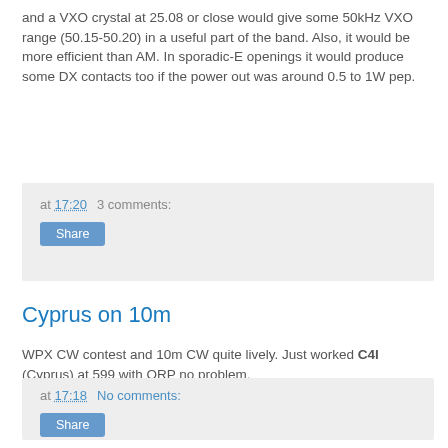and a VXO crystal at 25.08 or close would give some 50kHz VXO range (50.15-50.20) in a useful part of the band. Also, it would be more efficient than AM. In sporadic-E openings it would produce some DX contacts too if the power out was around 0.5 to 1W pep.
at 17:20   3 comments:
Share
Cyprus on 10m
WPX CW contest and 10m CW quite lively. Just worked C4I (Cyprus) at 599 with QRP no problem.
at 17:18   No comments:
Share